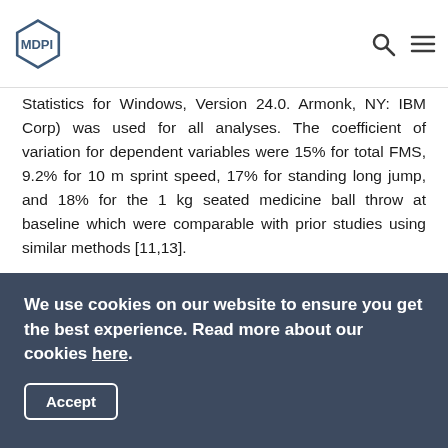MDPI
Statistics for Windows, Version 24.0. Armonk, NY: IBM Corp) was used for all analyses. The coefficient of variation for dependent variables were 15% for total FMS, 9.2% for 10 m sprint speed, 17% for standing long jump, and 18% for the 1 kg seated medicine ball throw at baseline which were comparable with prior studies using similar methods [11,13].
3. Results Process FMS
When data for total FMS scores were considered, results revealed a time × group × age stage interaction (F 2, 230 = 24.6, p = 0.001, ηp2 = 0.18, see Figure 1). Bonferroni post-hoc analysis indicated that there was no significant difference in total
We use cookies on our website to ensure you get the best experience. Read more about our cookies here.